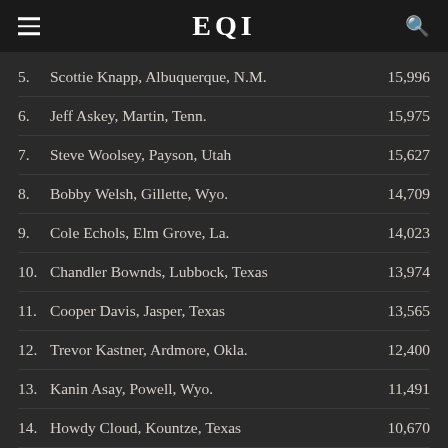EQI
5.  Scottie Knapp, Albuquerque, N.M.    15,996
6.  Jeff Askey, Martin, Tenn.    15,975
7.  Steve Woolsey, Payson, Utah    15,627
8.  Bobby Welsh, Gillette, Wyo.    14,709
9.  Cole Echols, Elm Grove, La.    14,023
10.  Chandler Bownds, Lubbock, Texas    13,974
11.  Cooper Davis, Jasper, Texas    13,565
12.  Trevor Kastner, Ardmore, Okla.    12,400
13.  Kanin Asay, Powell, Wyo.    11,491
14.  Howdy Cloud, Kountze, Texas    10,670
15.  Reese Cates, Monticello, Ark.    10,543
16.  Ardie Maier, Timber Lake, S.D.    10,365